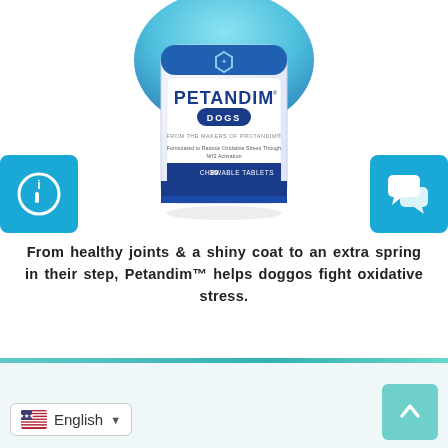[Figure (photo): Petandim for Dogs supplement bottle - white bottle with blue label showing 30 Chewable Tablets, from the makers of Protandim, formulated to reduce oxidative stress through Nrf2 Activation]
[Figure (other): Blue info (i) icon button on left side]
[Figure (other): Blue chat bubble icon button on right side]
From healthy joints & a shiny coat to an extra spring in their step, Petandim™ helps doggos fight oxidative stress.
[Figure (other): Green Learn More button]
English ▼